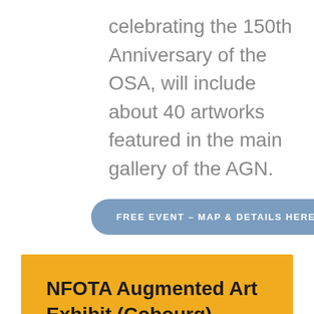celebrating the 150th Anniversary of the OSA, will include about 40 artworks featured in the main gallery of the AGN.
FREE EVENT – MAP & DETAILS HERE
NFOTA Augmented Art Exhibit (Cobourg)
[Figure (photo): Exterior photo of a Mini Art Gallery building with a triangular roof pediment and sign reading MINI ART GALLERY]